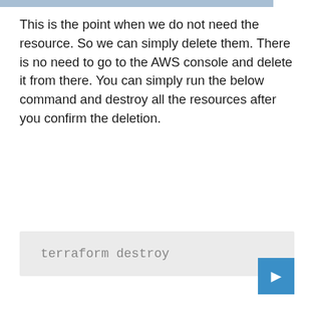This is the point when we do not need the resource. So we can simply delete them. There is no need to go to the AWS console and delete it from there. You can simply run the below command and destroy all the resources after you confirm the deletion.